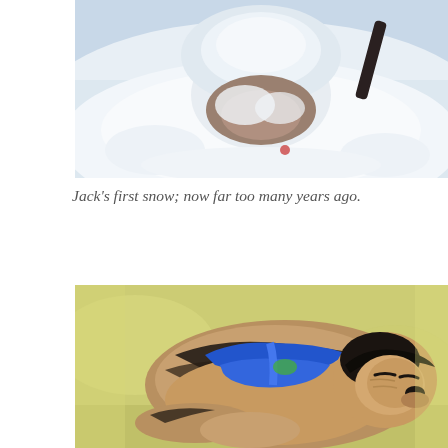[Figure (photo): A dog (Jack) encountering snow for the first time, seen from above. The dog's face is buried in white snow with some red and brown markings visible, and a dark stick or object is in the snow nearby.]
Jack's first snow; now far too many years ago.
[Figure (photo): A small puppy sleeping curled up, wearing a blue harness/vest. The puppy has black and tan coloring and is resting on light-colored bedding.]